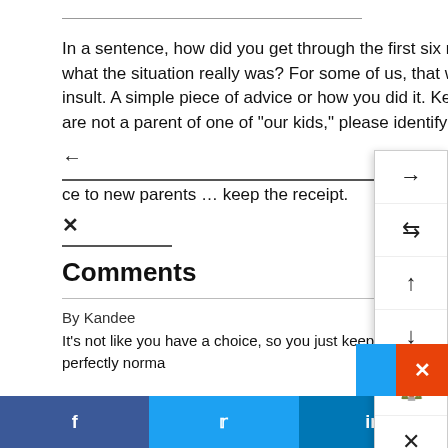In a sentence, how did you get through the first six months, starting from when you realized what the situation really was? For some of us, that was birth, others after a stroke or other insult. A simple piece of advice or how you did it. Keep it simple … and if you comment and are not a parent of one of "our kids," please identify yourself as such.
ce to new parents … keep the receipt.
Comments
By Kandee
It's not like you have a choice, so you just keep going until you go through the stages of the loss of your perfectly norma